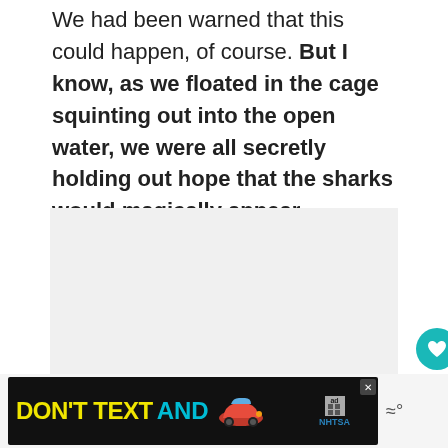We had been warned that this could happen, of course. But I know, as we floated in the cage squinting out into the open water, we were all secretly holding out hope that the sharks would magically appear.
[Figure (screenshot): A light gray content area placeholder box with a teal circular like/favorite button and a white circular share button on the right side. A 'What's Next' panel with thumbnail and 'Should You Go Cage...' text is visible at bottom right.]
[Figure (screenshot): An advertisement banner at the bottom: dark background with yellow 'DON'T TEXT AND' text, a red car illustration, and NHTSA logo branding. An X close button is visible.]